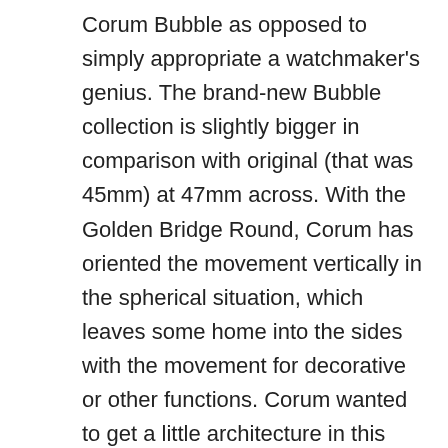Corum Bubble as opposed to simply appropriate a watchmaker's genius. The brand-new Bubble collection is slightly bigger in comparison with original (that was 45mm) at 47mm across. With the Golden Bridge Round, Corum has oriented the movement vertically in the spherical situation, which leaves some home into the sides with the movement for decorative or other functions. Corum wanted to get a little architecture in this article, therefore the bridge do the job (pretty much) on the sides of the movement from the or else skeletonized case is taken from the layout of your Golden Gate Bridge in San Francisco. So indeed, the Golden Bridge enjoy will get some inspiration from another golden bridge... I believe which is quite exciting. In fact, the Golden Gate